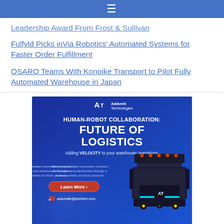≡
Leadership Award From Frost & Sullivan
Fulfyld Picks inVia Robotics' Automated Systems for Faster Order Fulfillment
OSARO Teams With Konoike Transport to Pilot Fully Automated Warehouse in Japan
[Figure (illustration): Addverb Technologies advertisement banner. Dark blue background with circuit board pattern. Logo 'AT Addverb Technologies' at top center. Large white bold text reads 'HUMAN-ROBOT COLLABORATION: FUTURE OF LOGISTICS'. Subtitle: 'Adding VELOCITY to your warehouse operations.' Left side shows small text: 'Delivering intelligent automation solutions for factories and warehouses through a diverse portfolio of robotic products.' Red oval button 'Learn More >' . Email: automate@addverb.com. Right side shows 3D render of an autonomous mobile robot.]